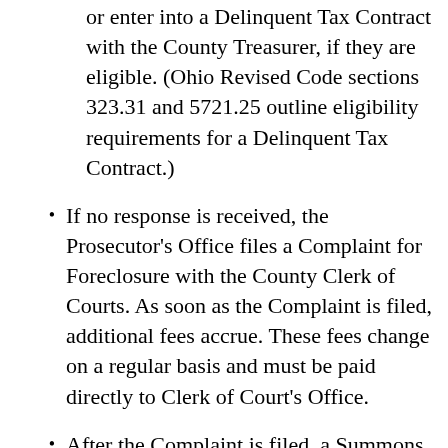or enter into a Delinquent Tax Contract with the County Treasurer, if they are eligible. (Ohio Revised Code sections 323.31 and 5721.25 outline eligibility requirements for a Delinquent Tax Contract.)
If no response is received, the Prosecutor's Office files a Complaint for Foreclosure with the County Clerk of Courts. As soon as the Complaint is filed, additional fees accrue. These fees change on a regular basis and must be paid directly to Clerk of Court's Office.
After the Complaint is filed, a Summons is delivered to the taxpayer/owner by certified mail. The taxpayer has 28 days to respond. If the taxpayer responds within